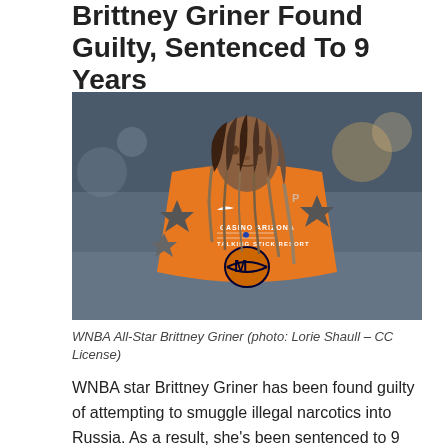Brittney Griner Found Guilty, Sentenced To 9 Years
[Figure (photo): WNBA All-Star Brittney Griner wearing an orange Phoenix Mercury jersey with Casino Arizona / Talking Stick Resort sponsorship, with dreadlocks and star tattoos on both shoulders, mid-court in an indoor basketball arena with blurred crowd in background.]
WNBA All-Star Brittney Griner (photo: Lorie Shaull – CC License)
WNBA star Brittney Griner has been found guilty of attempting to smuggle illegal narcotics into Russia. As a result, she's been sentenced to 9 years in a penal colony, near the maximum penalty.